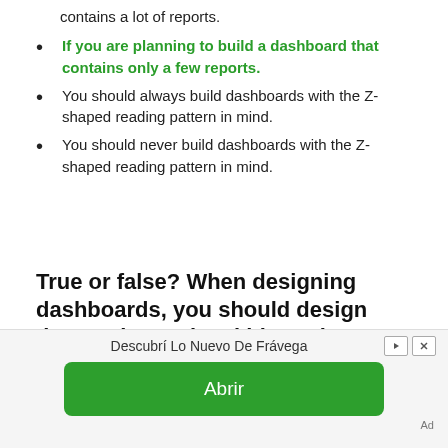contains a lot of reports.
If you are planning to build a dashboard that contains only a few reports.
You should always build dashboards with the Z-shaped reading pattern in mind.
You should never build dashboards with the Z-shaped reading pattern in mind.
True or false? When designing dashboards, you should design them using a visual hierarchy.
True